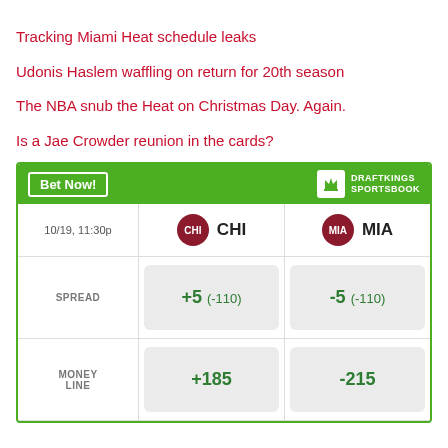Tracking Miami Heat schedule leaks
Udonis Haslem waffling on return for 20th season
The NBA snub the Heat on Christmas Day. Again.
Is a Jae Crowder reunion in the cards?
|  | CHI | MIA |
| --- | --- | --- |
| SPREAD | +5  (-110) | -5  (-110) |
| MONEY LINE | +185 | -215 |